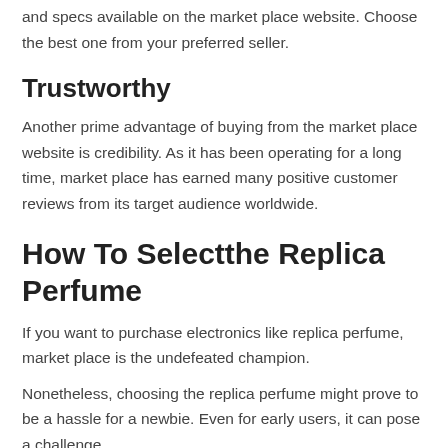and specs available on the market place website. Choose the best one from your preferred seller.
Trustworthy
Another prime advantage of buying from the market place website is credibility. As it has been operating for a long time, market place has earned many positive customer reviews from its target audience worldwide.
How To Selectthe Replica Perfume
If you want to purchase electronics like replica perfume, market place is the undefeated champion.
Nonetheless, choosing the replica perfume might prove to be a hassle for a newbie. Even for early users, it can pose a challenge